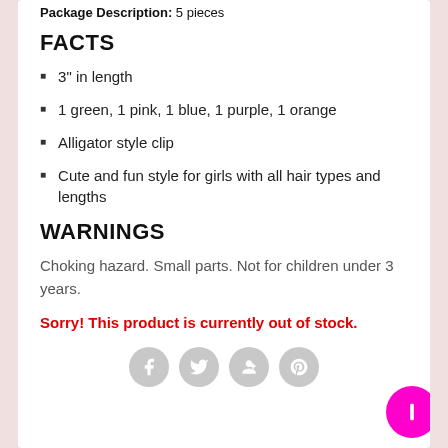Package Description: 5 pieces
FACTS
3" in length
1 green, 1 pink, 1 blue, 1 purple, 1 orange
Alligator style clip
Cute and fun style for girls with all hair types and lengths
WARNINGS
Choking hazard. Small parts. Not for children under 3 years.
Sorry! This product is currently out of stock.
[Figure (infographic): Social sharing icons: Facebook, Twitter, Google+, Pinterest, and a pink floating action button]